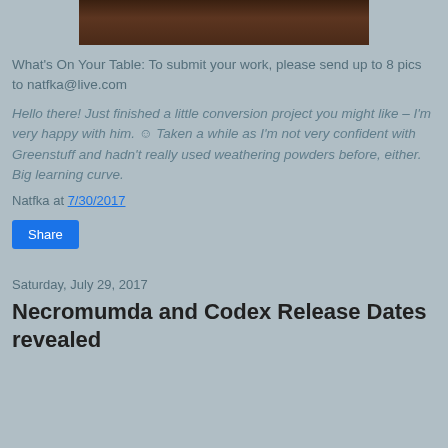[Figure (photo): Partial view of a dark-colored miniature figure on a round base, cropped at top of page]
What's On Your Table: To submit your work, please send up to 8 pics to natfka@live.com
Hello there! Just finished a little conversion project you might like – I'm very happy with him. ☺ Taken a while as I'm not very confident with Greenstuff and hadn't really used weathering powders before, either.  Big learning curve.
Natfka at 7/30/2017
Share
Saturday, July 29, 2017
Necromumda and Codex Release Dates revealed